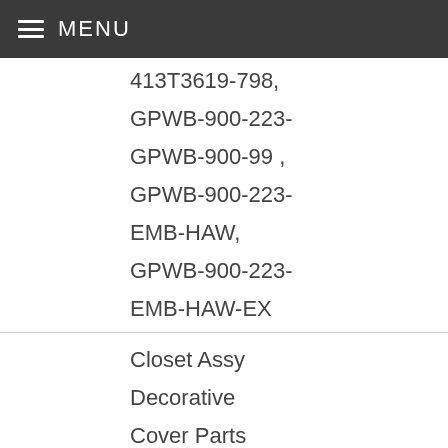MENU
413T3619-798,
GPWB-900-223-
GPWB-900-99 ,
GPWB-900-223-
EMB-HAW,
GPWB-900-223-
EMB-HAW-EX
Closet Assy
Decorative
Cover Parts
401U3503-
1301,
401U3503-
1302,